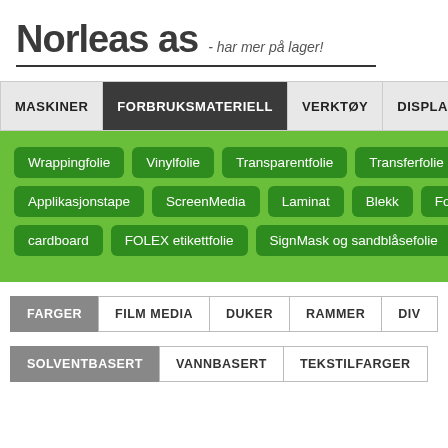Norleas as - har mer på lager!
[Figure (screenshot): Navigation bar with menu items: MASKINER, FORBRUKSMATERIELL (active/dark), VERKTØY, DISPLAY]
[Figure (infographic): Green area with tag buttons: Wrappingfolie, Vinylfolie, Transparentfolie, Transferfolie, Applikasjonstape, ScreenMedia, Laminat, Blekk, Foam, cardboard, FOLEX etikettfolie, SignMask og sandblåsefolie]
[Figure (screenshot): Sub-navigation row: FARGER (active/grey), FILM MEDIA, DUKER, RAMMER, DIV]
[Figure (screenshot): Bottom sub-navigation: SOLVENTBASERT (active/grey), VANNBASERT, TEKSTILFARGER]